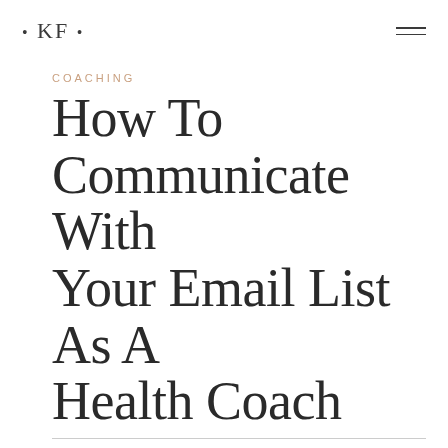• KF •
COACHING
How To Communicate With Your Email List As A Health Coach
As a health coach trying to find clients, you might be diligently building your email list, but do you know how often to email your list? What to send them? Does it have to be a newsletter? What's the best